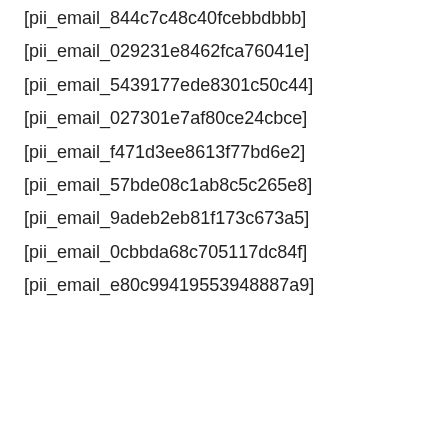[pii_email_844c7c48c40fcebbdbbb]
[pii_email_029231e8462fca76041e]
[pii_email_5439177ede8301c50c44]
[pii_email_027301e7af80ce24cbce]
[pii_email_f471d3ee8613f77bd6e2]
[pii_email_57bde08c1ab8c5c265e8]
[pii_email_9adeb2eb81f173c673a5]
[pii_email_0cbbda68c705117dc84f]
[pii_email_e80c99419553948887a9]